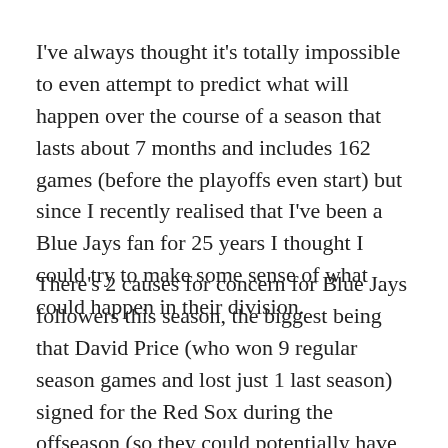I've always thought it's totally impossible to even attempt to predict what will happen over the course of a season that lasts about 7 months and includes 162 games (before the playoffs even start) but since I recently realised that I've been a Blue Jays fan for 25 years I thought I could try to make some sense of what could happen in their division.
There's 2 causes for concern for Blue Jays followers this season, the biggest being that David Price (who won 9 regular season games and lost just 1 last season) signed for the Red Sox during the offseason (so they could potentially have to face him 4 times this season), the second is that GM Alex